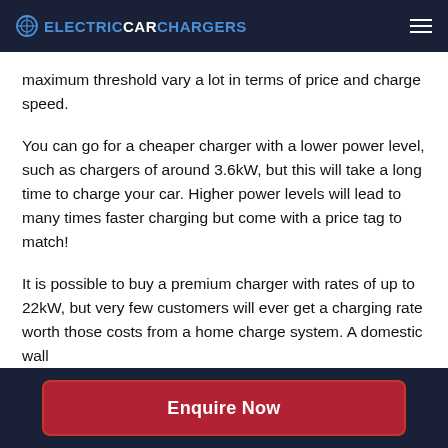ELECTRICCARCHARGERS
maximum threshold vary a lot in terms of price and charge speed.
You can go for a cheaper charger with a lower power level, such as chargers of around 3.6kW, but this will take a long time to charge your car. Higher power levels will lead to many times faster charging but come with a price tag to match!
It is possible to buy a premium charger with rates of up to 22kW, but very few customers will ever get a charging rate worth those costs from a home charge system. A domestic wall
Enquire Now